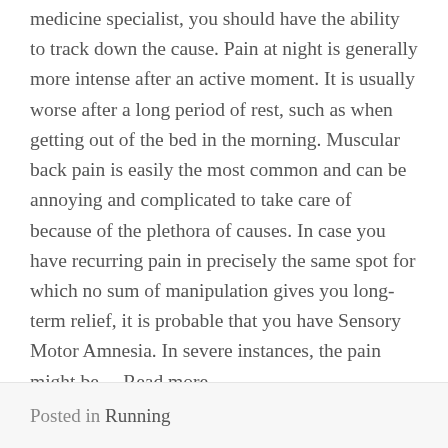medicine specialist, you should have the ability to track down the cause. Pain at night is generally more intense after an active moment. It is usually worse after a long period of rest, such as when getting out of the bed in the morning. Muscular back pain is easily the most common and can be annoying and complicated to take care of because of the plethora of causes. In case you have recurring pain in precisely the same spot for which no sum of manipulation gives you long-term relief, it is probable that you have Sensory Motor Amnesia. In severe instances, the pain might be… Read more
Posted in Running